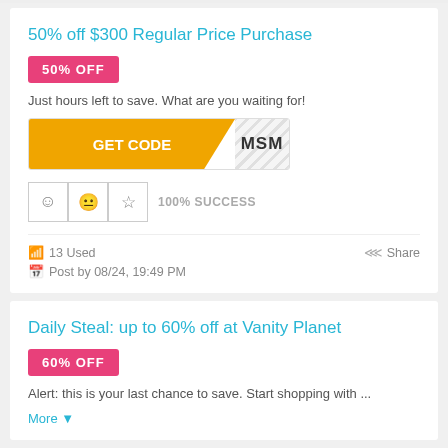50% off $300 Regular Price Purchase
50% OFF
Just hours left to save. What are you waiting for!
[Figure (other): GET CODE button with MSM coupon code]
100% SUCCESS
13 Used
Share
Post by 08/24, 19:49 PM
Daily Steal: up to 60% off at Vanity Planet
60% OFF
Alert: this is your last chance to save. Start shopping with ...
More